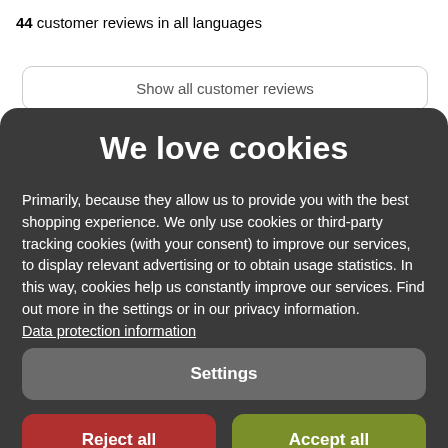44 customer reviews in all languages
Show all customer reviews
We love cookies
Primarily, because they allow us to provide you with the best shopping experience. We only use cookies or third-party tracking cookies (with your consent) to improve our services, to display relevant advertising or to obtain usage statistics. In this way, cookies help us constantly improve our services. Find out more in the settings or in our privacy information. Data protection information
Settings
Reject all
Accept all